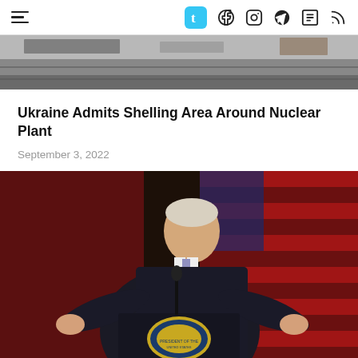Navigation bar with hamburger menu and social icons: Tumblr, Facebook, Instagram, Telegram, LinkedIn, RSS
[Figure (photo): Top cropped photo of an industrial or facility scene, partially visible]
Ukraine Admits Shelling Area Around Nuclear Plant
September 3, 2022
[Figure (photo): Photo of a man in a dark suit speaking at a presidential podium with the US presidential seal, with an American flag in the background and dramatic red lighting]
SUBSCRIBE TO OUR MAILING LIST